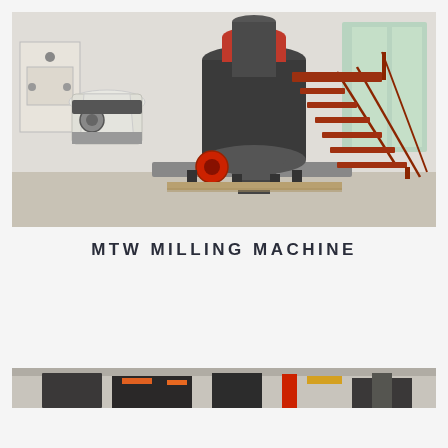[Figure (photo): Industrial MTW milling machine in a factory setting. A large dark-colored cylindrical grinding mill dominates the center, with a smaller white cone crusher to the left. Red accent wheel visible on the mill base. Red metal staircase with railings on the right side. Concrete floor, white walls, and windows visible in background.]
MTW MILLING MACHINE
[Figure (photo): Partial view of industrial milling or conveying equipment in a factory, showing machinery with orange and black components, partially cropped at bottom of page.]